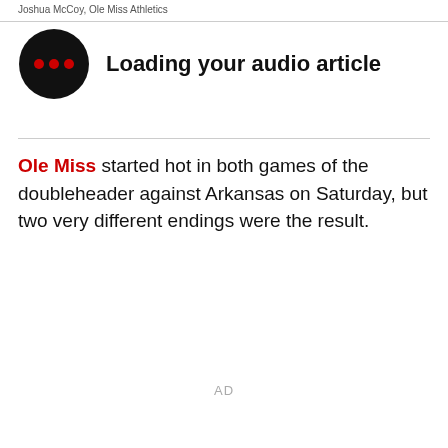Joshua McCoy, Ole Miss Athletics
[Figure (illustration): Audio article player icon: black circle with three red dots, indicating loading state]
Loading your audio article
Ole Miss started hot in both games of the doubleheader against Arkansas on Saturday, but two very different endings were the result.
AD